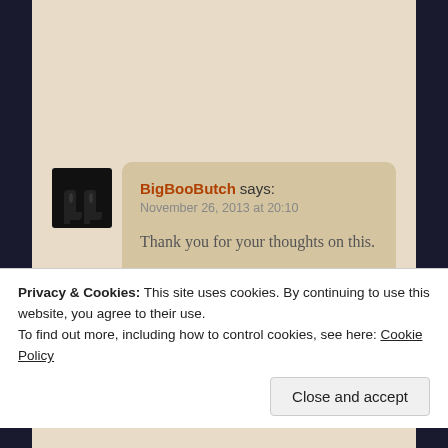BigBooButch says:
November 26, 2013 at 20:10

Thank you for your thoughts on this.

★ Like
Privacy & Cookies: This site uses cookies. By continuing to use this website, you agree to their use.
To find out more, including how to control cookies, see here: Cookie Policy
Close and accept